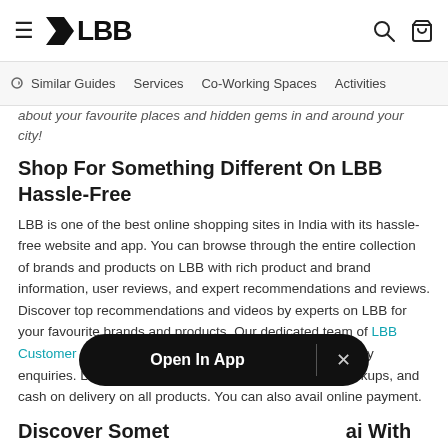≡ LBB [search] [bag]
Similar Guides | Services | Co-Working Spaces | Activities
…about your favourite places and hidden gems in and around your city!
Shop For Something Different On LBB Hassle-Free
LBB is one of the best online shopping sites in India with its hassle-free website and app. You can browse through the entire collection of brands and products on LBB with rich product and brand information, user reviews, and expert recommendations and reviews. Discover top recommendations and videos by experts on LBB for your favourite brands and products. Our dedicated team of LBB Customer Support will help you with all your orders and any enquiries. LBB provides free delivery, free returns and pickups, and cash on delivery on all products. You can also avail online payment.
Discover Something… Mumbai With LBB
Check out LBB Mumbai… [LBB Mumbai], top tourist attractions, best places for shopping, top places to visit, what to do in Mumbai, best parks, best hill stations nearby, best beaches, best malls, best street shopping, top street food, top theatres, top Bollywood spots,
[Figure (other): Open In App modal banner overlay with close button]